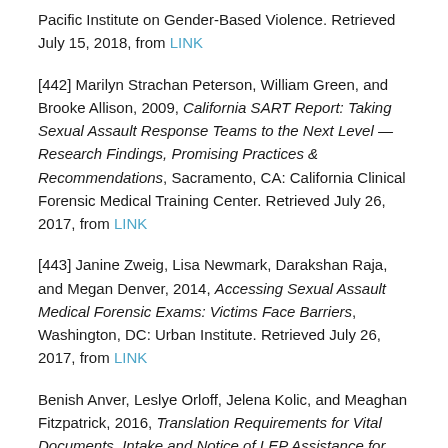Pacific Institute on Gender-Based Violence. Retrieved July 15, 2018, from LINK
[442] Marilyn Strachan Peterson, William Green, and Brooke Allison, 2009, California SART Report: Taking Sexual Assault Response Teams to the Next Level — Research Findings, Promising Practices & Recommendations, Sacramento, CA: California Clinical Forensic Medical Training Center. Retrieved July 26, 2017, from LINK
[443] Janine Zweig, Lisa Newmark, Darakshan Raja, and Megan Denver, 2014, Accessing Sexual Assault Medical Forensic Exams: Victims Face Barriers, Washington, DC: Urban Institute. Retrieved July 26, 2017, from LINK
Benish Anver, Leslye Orloff, Jelena Kolic, and Meaghan Fitzpatrick, 2016, Translation Requirements for Vital Documents, Intake and Notice of LEP Assistance for DOJ and HHS Grantees Serving Immigrant Crime Victims,